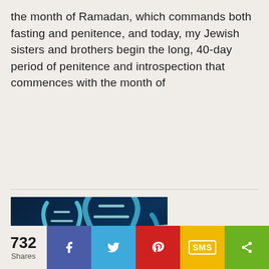the month of Ramadan, which commands both fasting and penitence, and today, my Jewish sisters and brothers begin the long, 40-day period of penitence and introspection that commences with the month of
[Figure (photo): Blue glowing DNA double helix strands on dark background, with a yellow bar at the bottom]
732 Shares
[Figure (infographic): Social share bar with Facebook (blue), Twitter (light blue), Pinterest (red), SMS (yellow/gold), and share (green) buttons]